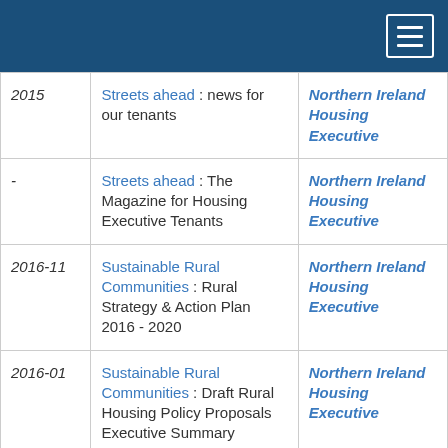Navigation menu
| Year | Title | Organisation |
| --- | --- | --- |
| 2015 | Streets ahead : news for our tenants | Northern Ireland Housing Executive |
| - | Streets ahead : The Magazine for Housing Executive Tenants | Northern Ireland Housing Executive |
| 2016-11 | Sustainable Rural Communities : Rural Strategy & Action Plan 2016 - 2020 | Northern Ireland Housing Executive |
| 2016-01 | Sustainable Rural Communities : Draft Rural Housing Policy Proposals Executive Summary | Northern Ireland Housing Executive |
| 2016-01 | Sustainable Rural Communities - full policy | Northern Ireland Housing |